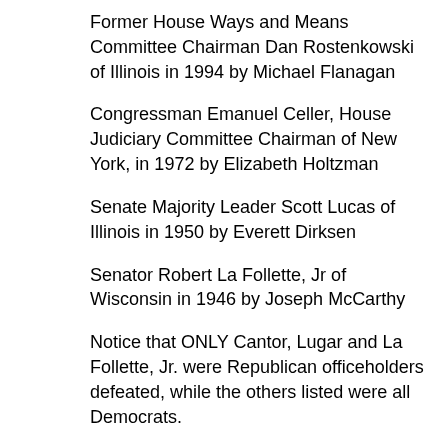Former House Ways and Means Committee Chairman Dan Rostenkowski of Illinois in 1994 by Michael Flanagan
Congressman Emanuel Celler, House Judiciary Committee Chairman of New York, in 1972 by Elizabeth Holtzman
Senate Majority Leader Scott Lucas of Illinois in 1950 by Everett Dirksen
Senator Robert La Follette, Jr of Wisconsin in 1946 by Joseph McCarthy
Notice that ONLY Cantor, Lugar and La Follette, Jr. were Republican officeholders defeated, while the others listed were all Democrats.
So it is newsworthy and highly unusual for Congressional leaders and prominent members